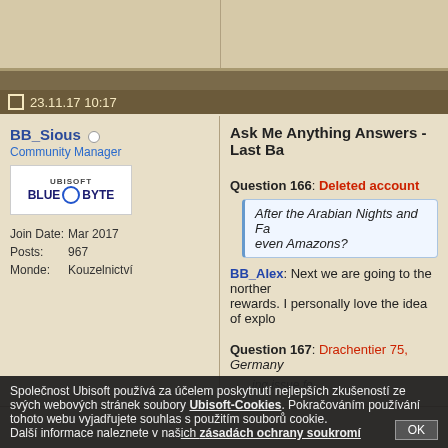Forum page header with navigation
23.11.17 10:17
BB_Sious (offline)
Community Manager
Join Date: Mar 2017
Posts: 967
Monde: Kouzelnictví
Ask Me Anything Answers - Last Ba...
Question 166: Deleted account
After the Arabian Nights and Fa... even Amazons?
BB_Alex: Next we are going to the norther... rewards. I personally love the idea of explo...
Question 167: Drachentier 75, Germany
...ing issue fo...
Společnost Ubisoft používá za účelem poskytnutí nejlepších zkušeností ze svých webových stránek soubory Ubisoft-Cookies. Pokračováním používání tohoto webu vyjadřujete souhlas s použitím souborů cookie. Další informace naleznete v našich zásadách ochrany soukromí.